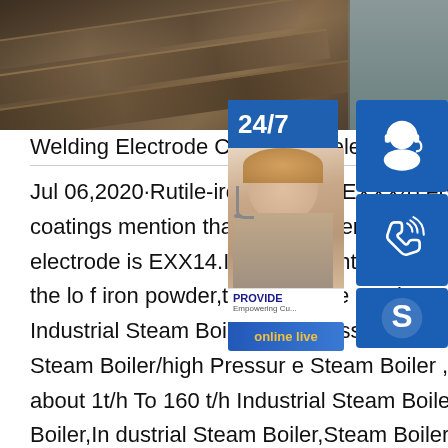[Figure (photo): Stacked metal/steel plates or electrodes photographed from above at an angle, dark metallic tones with brown and grey colors]
Welding Electrode Chart and Selection -
[Figure (infographic): Customer support overlay panel with 24/7 label, headset icon, phone icon, Skype icon, face photo of support agent, PROVIDE Empowering Customers text, and online live button]
Jul 06,2020·Rutile-iron powder (EXXX4) ery similar to the rutile coatings mention that iron powder is added.If iron content nt,the electrode is EXX14.If iron content more,the electrode is EXX24.With the lo f iron powder,the electrode can be used p.info1t/h To 160t/h Industrial Steam Boiler/high Pressure Steam 1t/h To 160t/h Industrial Steam Boiler/high Pressure Steam Boiler , Find Complete Details about 1t/h To 160t/h Industrial Steam Boiler/high Pressure Steam Boiler,Industrial Steam Boiler,Steam Boiler,Boiler from Boilers Su